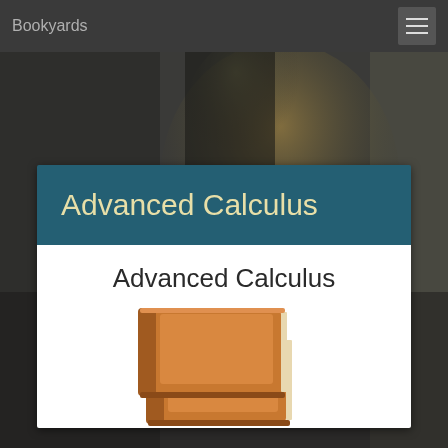Bookyards
[Figure (screenshot): Dark blurred background with bokeh effect, resembling a dimly lit room or corridor]
Advanced Calculus
Advanced Calculus
[Figure (illustration): Stack of two orange/brown leather-bound books icon]